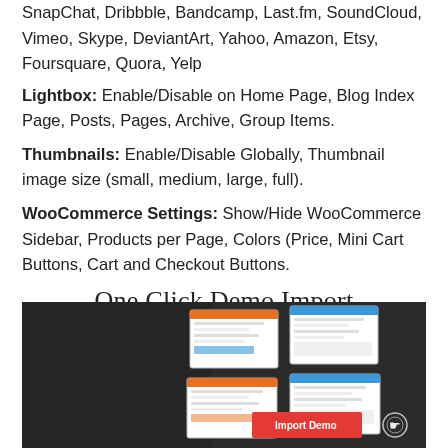SnapChat, Dribbble, Bandcamp, Last.fm, SoundCloud, Vimeo, Skype, DeviantArt, Yahoo, Amazon, Etsy, Foursquare, Quora, Yelp
Lightbox: Enable/Disable on Home Page, Blog Index Page, Posts, Pages, Archive, Group Items.
Thumbnails: Enable/Disable Globally, Thumbnail image size (small, medium, large, full).
WooCommerce Settings: Show/Hide WooCommerce Sidebar, Products per Page, Colors (Price, Mini Cart Buttons, Cart and Checkout Buttons.
One Click Demo Import
[Figure (screenshot): Dark background demo import screen showing website screenshot mockups on tablets/screens on the right side, with a red 'Import Demo' button with a cursor/click icon in the lower right area.]